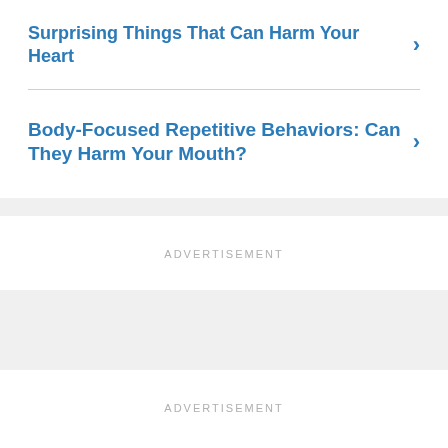Surprising Things That Can Harm Your Heart
Body-Focused Repetitive Behaviors: Can They Harm Your Mouth?
ADVERTISEMENT
ADVERTISEMENT